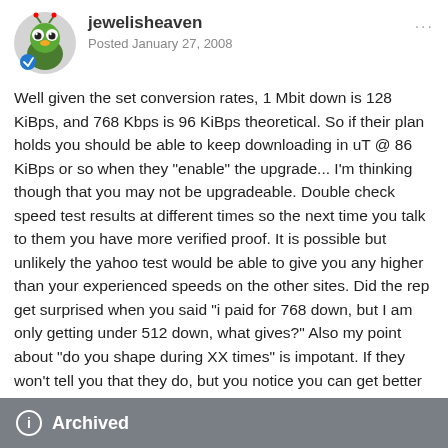jewelisheaven
Posted January 27, 2008
Well given the set conversion rates, 1 Mbit down is 128 KiBps, and 768 Kbps is 96 KiBps theoretical. So if their plan holds you should be able to keep downloading in uT @ 86 KiBps or so when they "enable" the upgrade... I'm thinking though that you may not be upgradeable. Double check speed test results at different times so the next time you talk to them you have more verified proof. It is possible but unlikely the yahoo test would be able to give you any higher than your experienced speeds on the other sites. Did the rep get surprised when you said "i paid for 768 down, but I am only getting under 512 down, what gives?" Also my point about "do you shape during XX times" is impotant. If they won't tell you that they do, but you notice you can get better speed times at night, or late night (post 11pm) then you need to collect data points in those areas to tell the CS rep or escalated CS rep (escalation is what the support community calls "get my supervisor" heeh).
Archived